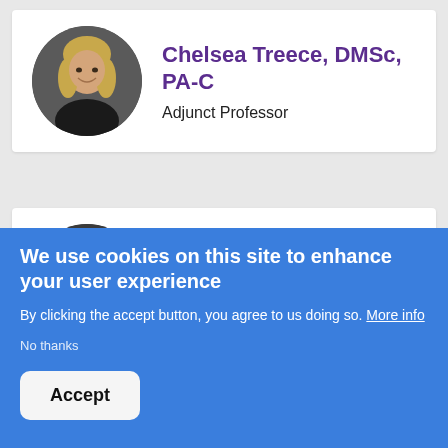[Figure (photo): Profile card for Chelsea Treece with circular headshot photo of a woman with blonde hair smiling]
Chelsea Treece, DMSc, PA-C
Adjunct Professor
[Figure (photo): Profile card for Nicholas Weshinskey with a grey placeholder silhouette avatar on dark circular background]
Nicholas Weshinskey, NCC, PHD
Education Assistant Professor, Year
We use cookies on this site to enhance your user experience
By clicking the accept button, you agree to us doing so. More info
No thanks
Accept